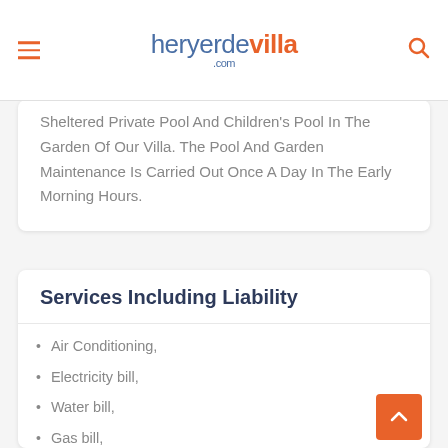heryerdevilla.com
Sheltered Private Pool And Children's Pool In The Garden Of Our Villa. The Pool And Garden Maintenance Is Carried Out Once A Day In The Early Morning Hours.
Services Including Liability
Air Conditioning,
Electricity bill,
Water bill,
Gas bill,
24 Hour Assistance and Advice
Pool maintenance
Garden maintenance
Weekly clean towels and sheets